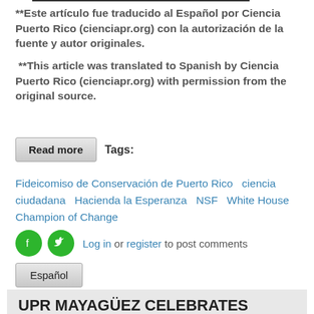**Este artículo fue traducido al Español por Ciencia Puerto Rico (cienciapr.org) con la autorización de la fuente y autor originales.
**This article was translated to Spanish by Ciencia Puerto Rico (cienciapr.org) with permission from the original source.
Read more   Tags:
Fideicomiso de Conservación de Puerto Rico   ciencia ciudadana   Hacienda la Esperanza   NSF   White House Champion of Change
Log in or register to post comments
Español
UPR MAYAGÜEZ CELEBRATES ANNIVERSARY OF THE